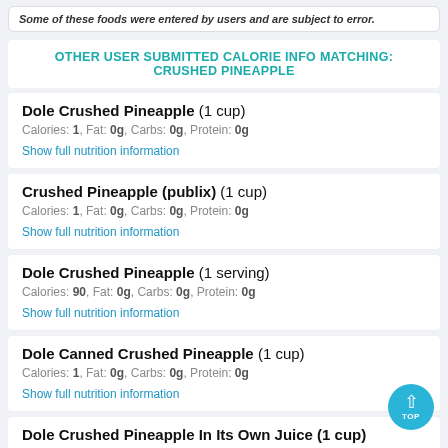Some of these foods were entered by users and are subject to error.
OTHER USER SUBMITTED CALORIE INFO MATCHING: CRUSHED PINEAPPLE
Dole Crushed Pineapple (1 cup)
Calories: 1, Fat: 0g, Carbs: 0g, Protein: 0g
Show full nutrition information
Crushed Pineapple (publix) (1 cup)
Calories: 1, Fat: 0g, Carbs: 0g, Protein: 0g
Show full nutrition information
Dole Crushed Pineapple (1 serving)
Calories: 90, Fat: 0g, Carbs: 0g, Protein: 0g
Show full nutrition information
Dole Canned Crushed Pineapple (1 cup)
Calories: 1, Fat: 0g, Carbs: 0g, Protein: 0g
Show full nutrition information
Dole Crushed Pineapple In Its Own Juice (1 cup)